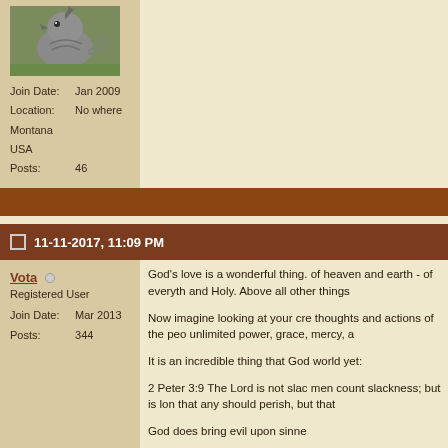[Figure (photo): Avatar image of a bird (appears to be a quail or similar bird) on a green background]
Join Date: Jan 2009
Location: No where Montana USA
Posts: 46
11-11-2017, 11:09 PM
Vota
Registered User
Join Date: Mar 2013
Posts: 344
God's love is a wonderful thing. of heaven and earth - of everyth and Holy. Above all other things

Now imagine looking at your cre thoughts and actions of the peo unlimited power, grace, mercy, a

It is an incredible thing that God world yet:

2 Peter 3:9 The Lord is not slac men count slackness; but is lon that any should perish, but that

God does bring evil upon sinne